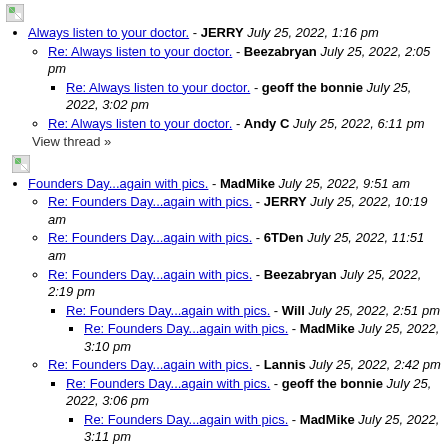[Figure (illustration): Small broken image icon (green/white puzzle piece style)]
Always listen to your doctor. - JERRY July 25, 2022, 1:16 pm
Re: Always listen to your doctor. - Beezabryan July 25, 2022, 2:05 pm
Re: Always listen to your doctor. - geoff the bonnie July 25, 2022, 3:02 pm
Re: Always listen to your doctor. - Andy C July 25, 2022, 6:11 pm
View thread »
[Figure (illustration): Small broken image icon (green/white puzzle piece style)]
Founders Day...again with pics. - MadMike July 25, 2022, 9:51 am
Re: Founders Day...again with pics. - JERRY July 25, 2022, 10:19 am
Re: Founders Day...again with pics. - 6TDen July 25, 2022, 11:51 am
Re: Founders Day...again with pics. - Beezabryan July 25, 2022, 2:19 pm
Re: Founders Day...again with pics. - Will July 25, 2022, 2:51 pm
Re: Founders Day...again with pics. - MadMike July 25, 2022, 3:10 pm
Re: Founders Day...again with pics. - Lannis July 25, 2022, 2:42 pm
Re: Founders Day...again with pics. - geoff the bonnie July 25, 2022, 3:06 pm
Re: Founders Day...again with pics. - MadMike July 25, 2022, 3:11 pm
Re: Founders Day...again with pics. - Will July 25, 2022, 3:35 pm
Re: Founders Day...again with pics. - geoff the bonnie July 25, 2022, 3:42 pm